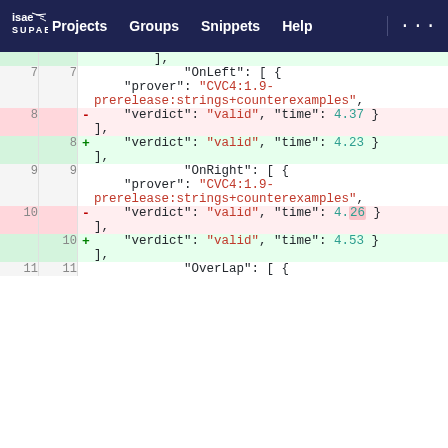ISAE SUPAERO | Projects | Groups | Snippets | Help | ...
[Figure (screenshot): Git diff view showing JSON code changes. Lines 7-11 showing OnLeft and OnRight proof results with CVC4:1.9-prerelease:strings+counterexamples prover, verdict valid, with time values changed: 4.37→4.23 (OnLeft) and 4.26→4.53 (OnRight).]